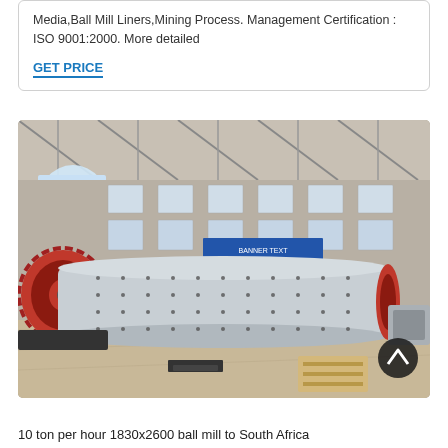Media,Ball Mill Liners,Mining Process. Management Certification : ISO 9001:2000. More detailed
GET PRICE
[Figure (photo): Large industrial ball mill in a factory/warehouse setting. The mill is a large horizontal cylindrical drum with silver/grey metallic body and red flanges, with a large red ring gear on the left end. The machine sits on the factory floor inside a steel-framed building with large windows. A dark circular scroll-up button is visible in the lower right of the image.]
10 ton per hour 1830x2600 ball mill to South Africa